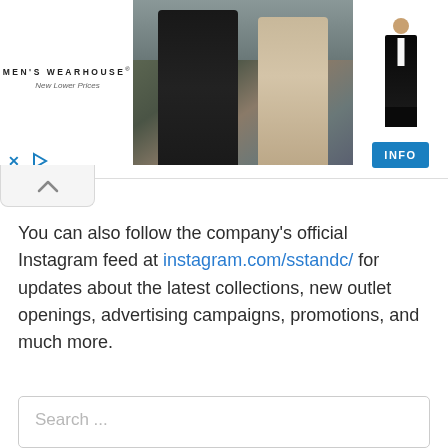[Figure (screenshot): Men's Wearhouse advertisement banner showing a couple in formal wear and a man in a tuxedo, with an INFO button and ad controls (X and play icons)]
You can also follow the company's official Instagram feed at instagram.com/sstandc/ for updates about the latest collections, new outlet openings, advertising campaigns, promotions, and much more.
Search ...